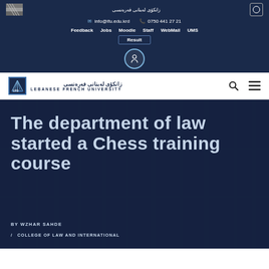زانکۆی لەبنانی فەرەنسی   info@lfu.edu.krd   0750 441 27 21   Feedback   Jobs   Moodle   Staff   WebMail   UMS   Result
[Figure (logo): Lebanese French University logo with Arabic/Kurdish text زانکۆی لەبنانی فەرەنسی and English text LEBANESE FRENCH UNIVERSITY]
The department of law started a Chess training course
BY WZHAR SAHDE
/ COLLEGE OF LAW AND INTERNATIONAL